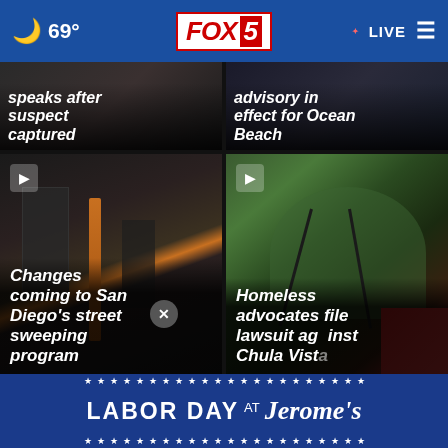69° FOX 5 LIVE
[Figure (screenshot): Partially visible news card: speaks after suspect captured]
[Figure (screenshot): Partially visible news card: advisory in effect for Ocean Beach]
[Figure (screenshot): News video thumbnail - dark interior bus/train scene. Headline: Changes coming to San Diego's street sweeping program]
[Figure (screenshot): News video thumbnail - green tent scene. Headline: Homeless advocates file lawsuit against Chula Vist...]
LABOR DAY AT Jerome's